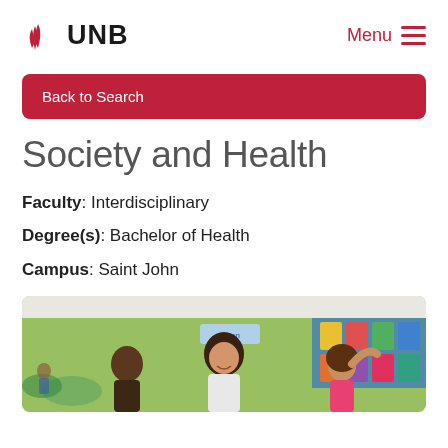[Figure (logo): UNB University of New Brunswick logo with red torch/flame icon and bold UNB text]
Menu ≡
Back to Search
Society and Health
Faculty: Interdisciplinary
Degree(s): Bachelor of Health
Campus: Saint John
[Figure (photo): Three girls in a classroom with green walls; a smiling young woman in the center with two younger girls on either side, colorful educational posters visible on the wall behind them]